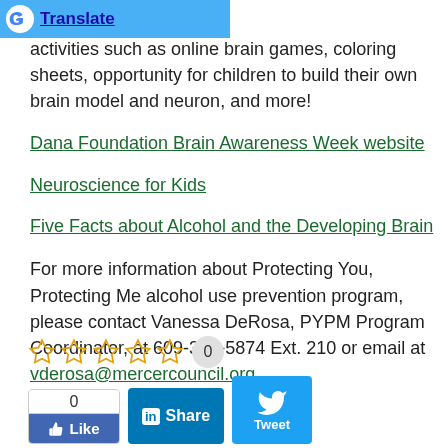[Figure (other): Google Translate toolbar button at top of page]
activities such as online brain games, coloring sheets, opportunity for children to build their own brain model and neuron, and more!
Dana Foundation Brain Awareness Week website
Neuroscience for Kids
Five Facts about Alcohol and the Developing Brain
For more information about Protecting You, Protecting Me alcohol use prevention program, please contact Vanessa DeRosa, PYPM Program Coordinator, at 609-396-5874 Ext. 210 or email at vderosa@mercercouncil.org.
[Figure (other): Star rating widget showing 5 empty stars and a count of 0]
[Figure (other): Social sharing buttons: Facebook Like (0), LinkedIn Share, Twitter Tweet]